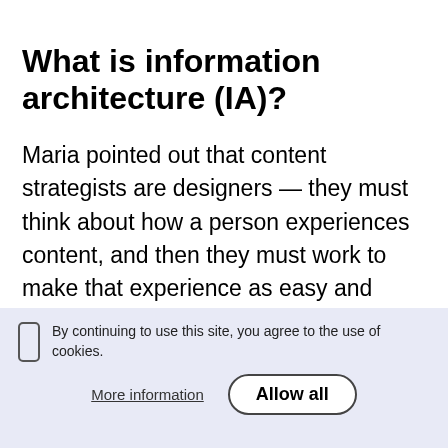What is information architecture (IA)?
Maria pointed out that content strategists are designers — they must think about how a person experiences content, and then they must work to make that experience as easy and effortless as possible. If people leave because they can't find their way around, it doesn't matter how good the content is — the product won't be successful.
By continuing to use this site, you agree to the use of cookies.
More information
Allow all